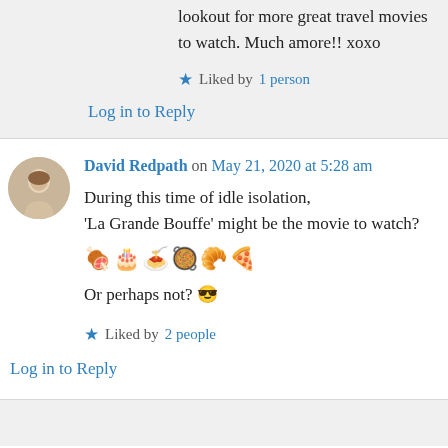lookout for more great travel movies to watch. Much amore!! xoxo
Liked by 1 person
Log in to Reply
David Redpath on May 21, 2020 at 5:28 am
During this time of idle isolation, 'La Grande Bouffe' might be the movie to watch? 🍖🎂🍝🥘🥐🍕 Or perhaps not? 😎
Liked by 2 people
Log in to Reply